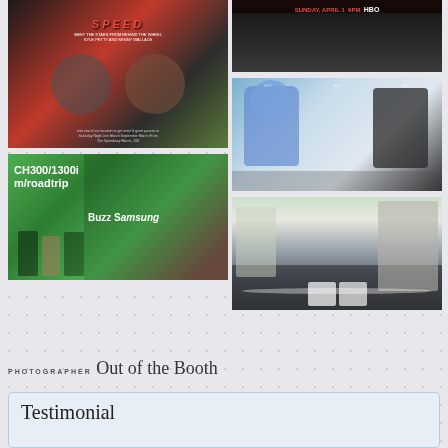[Figure (photo): Speed event promotional poster with red text saying SPEED and two people featured, dark background]
[Figure (photo): HBO promo banner showing Sunday April 1 9PM HBO text at top]
[Figure (photo): Green AT&T U-verse bus with Buzz Samsung branding, three people standing in front]
[Figure (photo): Blue horse mascot posing with a man in suit giving thumbs up at AT&T event backdrop]
[Figure (photo): Outdoor crowd scene with tents and buildings in background]
PHOTOGRAPHER Out of the Booth
Testimonial